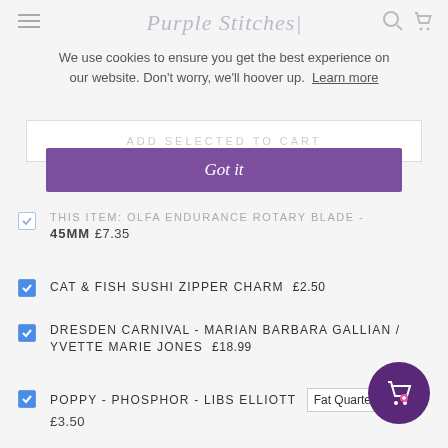Purple Stitches
We use cookies to ensure you get the best experience on our website. Don't worry, we'll hoover up. Learn more
ADD SELECTED TO CART
Got it
THIS ITEM: OLFA ENDURANCE ROTARY BLADE - 45MM  £7.35
CAT & FISH SUSHI ZIPPER CHARM  £2.50
DRESDEN CARNIVAL - MARIAN BARBARA GALLIAN / YVETTE MARIE JONES  £18.99
POPPY - PHOSPHOR - LIBS ELLIOTT  Fat Quarter  £3.50